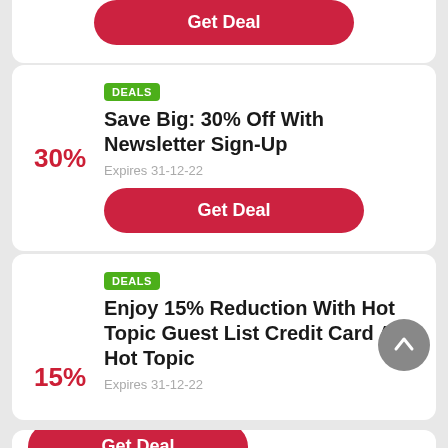[Figure (other): Get Deal button (red pill-shaped) at top of page, partial card visible]
DEALS
Save Big: 30% Off With Newsletter Sign-Up
Expires 31-12-22
Get Deal
DEALS
Enjoy 15% Reduction With Hot Topic Guest List Credit Card At Hot Topic
Expires 31-12-22